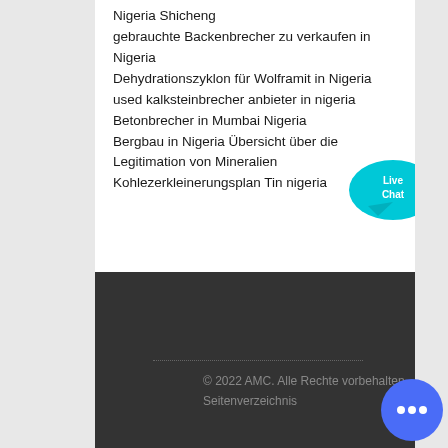Nigeria Shicheng
gebrauchte Backenbrecher zu verkaufen in Nigeria
Dehydrationszyklon für Wolframit in Nigeria
used kalksteinbrecher anbieter in nigeria
Betonbrecher in Mumbai Nigeria
Bergbau in Nigeria Übersicht über die Legitimation von Mineralien
Kohlezerkleinerungsplan Tin nigeria
[Figure (illustration): Live Chat speech bubble widget with cyan/teal color and 'Live Chat' text, with a small X close button]
© 2022 AMC. Alle Rechte vorbehalten
Seitenverzeichnis
[Figure (illustration): Round blue chat icon with three white dots indicating a messaging/chat widget in the bottom right corner]